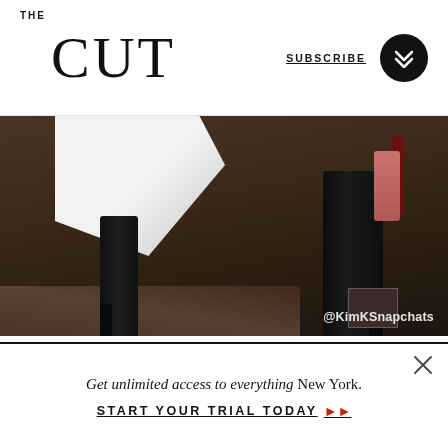THE CUT | SUBSCRIBE
[Figure (screenshot): Instagram embed showing lower body of person in tall black boots/thigh-highs and white dress, dark room background. Watermark reads @KimKSnapchats]
View more on Instagram
Heart, comment, share, and bookmark icons
Get unlimited access to everything New York.
START YOUR TRIAL TODAY ▶▶